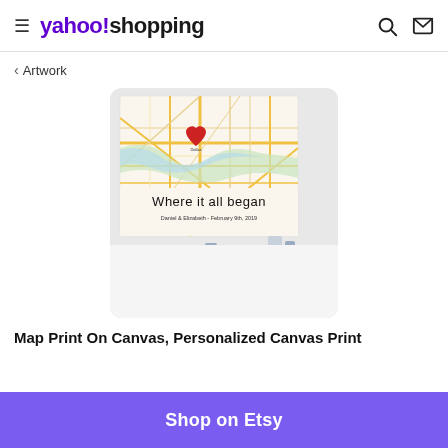yahoo!shopping
< Artwork
[Figure (photo): Product photo of a personalized canvas map print on a wall above a wooden bench. The canvas shows a city street map with a red heart pin in the center labeled 'Dallas', text reading 'Where it all began' and 'Daniel & Elizabeth - February 9th, 2019'.]
Map Print On Canvas, Personalized Canvas Print
Shop on Etsy